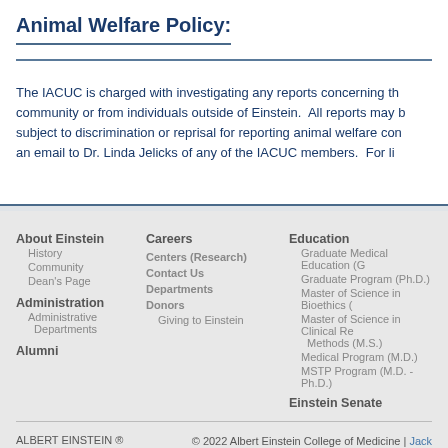Animal Welfare Policy:
The IACUC is charged with investigating any reports concerning the community or from individuals outside of Einstein. All reports may be subject to discrimination or reprisal for reporting animal welfare concerns an email to Dr. Linda Jelicks of any of the IACUC members. For lis
About Einstein
History
Community
Dean's Page
Administration
Administrative Departments
Alumni
Careers
Centers (Research)
Contact Us
Departments
Donors
Giving to Einstein
Education
Graduate Medical Education (G
Graduate Program (Ph.D.)
Master of Science in Bioethics (
Master of Science in Clinical Research Methods (M.S.)
Medical Program (M.D.)
MSTP Program (M.D. - Ph.D.)
Einstein Senate
ALBERT EINSTEIN ® College of Medicine | © 2022 Albert Einstein College of Medicine | Jack | 718.430.2000 | Privacy Policy